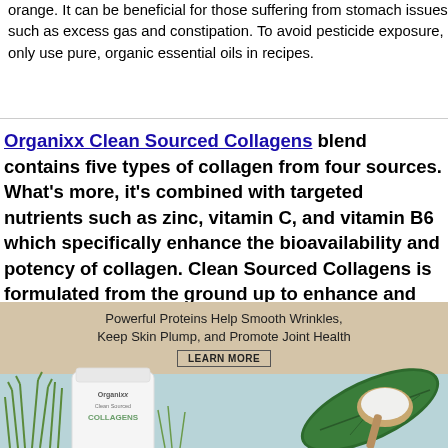orange. It can be beneficial for those suffering from stomach issues such as excess gas and constipation. To avoid pesticide exposure, only use pure, organic essential oils in recipes.
Organixx Clean Sourced Collagens blend contains five types of collagen from four sources. What's more, it's combined with targeted nutrients such as zinc, vitamin C, and vitamin B6 which specifically enhance the bioavailability and potency of collagen. Clean Sourced Collagens is formulated from the ground up to enhance and support your body's natural ability to heal and rebuild itself from the INSIDE out.
[Figure (photo): Advertisement banner for Organixx Clean Sourced Collagens product. Shows a white product bag with 'Organixx Clean Sourced COLLAGENS' text, tropical leaves, grass, and a wooden spoon with white powder on a light blue and beige background. Text reads: 'Powerful Proteins Help Smooth Wrinkles, Keep Skin Plump, and Promote Joint Health' with a 'LEARN MORE' button.]